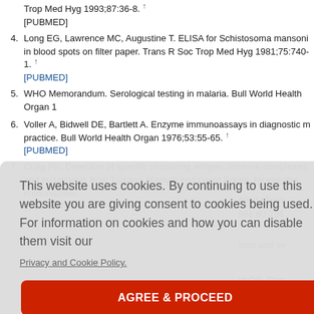Trop Med Hyg 1993;87:36-8. [PUBMED]
4. Long EG, Lawrence MC, Augustine T. ELISA for Schistosoma mansoni in blood spots on filter paper. Trans R Soc Trop Med Hyg 1981;75:740-1. [PUBMED]
5. WHO Memorandum. Serological testing in malaria. Bull World Health Organ 1...
6. Voller A, Bidwell DE, Bartlett A. Enzyme immunoassays in diagnostic medicine practice. Bull World Health Organ 1976;53:55-65. [PUBMED]
7. Craig PS. Detection of specific circulating antigen, immune complexes and hydatidosis from Turkana (Kenya) and Great Britain, by enzyme-immunoassa... 1986:8:171-88.
This website uses cookies. By continuing to use this website you are giving consent to cookies being used. For information on cookies and how you can disable them visit our
Privacy and Cookie Policy.
AGREE & PROCEED